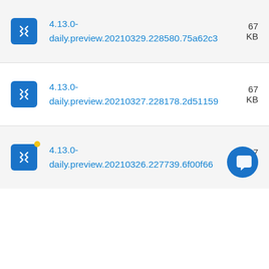4.13.0-daily.preview.20210329.228580.75a62c3  67 KB
4.13.0-daily.preview.20210327.228178.2d51159  67 KB
4.13.0-daily.preview.20210326.227739.6f00f66  67 KB